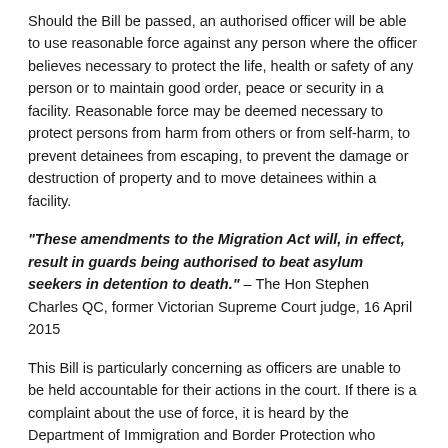Should the Bill be passed, an authorised officer will be able to use reasonable force against any person where the officer believes necessary to protect the life, health or safety of any person or to maintain good order, peace or security in a facility. Reasonable force may be deemed necessary to protect persons from harm from others or from self-harm, to prevent detainees from escaping, to prevent the damage or destruction of property and to move detainees within a facility.
“These amendments to the Migration Act will, in effect, result in guards being authorised to beat asylum seekers in detention to death.” – The Hon Stephen Charles QC, former Victorian Supreme Court judge, 16 April 2015
This Bill is particularly concerning as officers are unable to be held accountable for their actions in the court. If there is a complaint about the use of force, it is heard by the Department of Immigration and Border Protection who